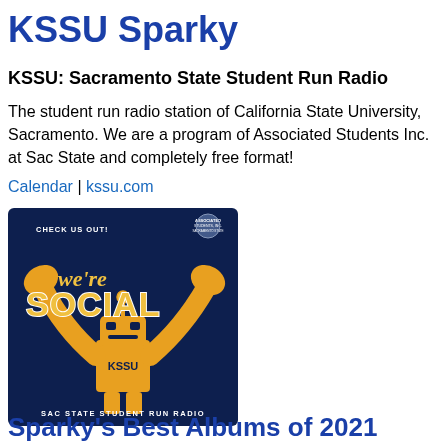KSSU Sparky
KSSU: Sacramento State Student Run Radio
The student run radio station of California State University, Sacramento. We are a program of Associated Students Inc. at Sac State and completely free format!
Calendar | kssu.com
[Figure (illustration): KSSU Sparky social media promotional image. Dark navy blue background with a gold robot mascot character raising its arms. Text reads: CHECK US OUT! we're SOCIAL KSSU SAC STATE STUDENT RUN RADIO. Associated Students, Inc. logo in top right corner.]
Sparky's Best Albums of 2021